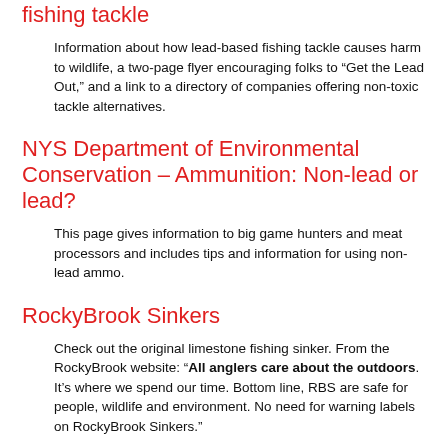fishing tackle
Information about how lead-based fishing tackle causes harm to wildlife, a two-page flyer encouraging folks to “Get the Lead Out,” and a link to a directory of companies offering non-toxic tackle alternatives.
NYS Department of Environmental Conservation – Ammunition: Non-lead or lead?
This page gives information to big game hunters and meat processors and includes tips and information for using non-lead ammo.
RockyBrook Sinkers
Check out the original limestone fishing sinker. From the RockyBrook website: “All anglers care about the outdoors. It’s where we spend our time. Bottom line, RBS are safe for people, wildlife and environment. No need for warning labels on RockyBrook Sinkers.”